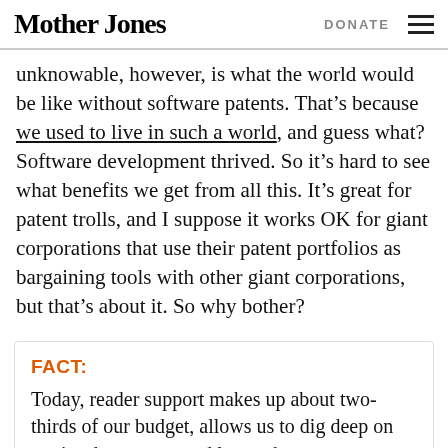Mother Jones | DONATE
unknowable, however, is what the world would be like without software patents. That’s because we used to live in such a world, and guess what? Software development thrived. So it’s hard to see what benefits we get from all this. It’s great for patent trolls, and I suppose it works OK for giant corporations that use their patent portfolios as bargaining tools with other giant corporations, but that’s about it. So why bother?
FACT:
Today, reader support makes up about two-thirds of our budget, allows us to dig deep on stories that matter, and lets us keep our